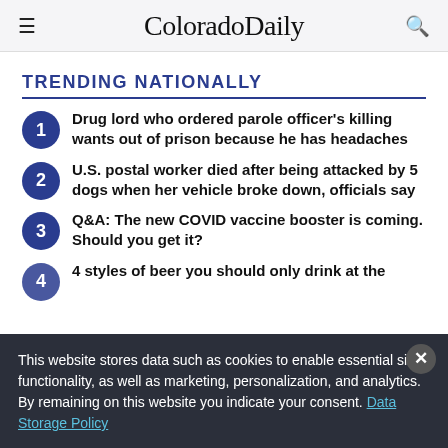ColoradoDaily
TRENDING NATIONALLY
Drug lord who ordered parole officer's killing wants out of prison because he has headaches
U.S. postal worker died after being attacked by 5 dogs when her vehicle broke down, officials say
Q&A: The new COVID vaccine booster is coming. Should you get it?
4 styles of beer you should only drink at the
This website stores data such as cookies to enable essential site functionality, as well as marketing, personalization, and analytics. By remaining on this website you indicate your consent. Data Storage Policy